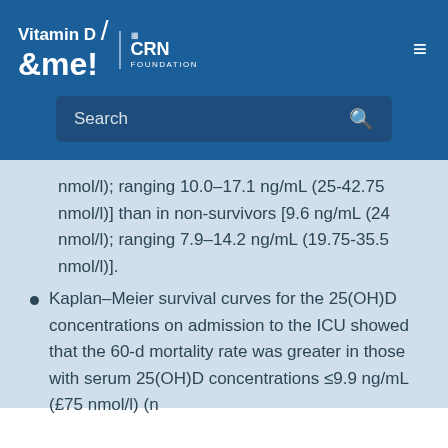Vitamin D & me! | CRN Foundation
nmol/l); ranging 10.0–17.1 ng/mL (25-42.75 nmol/l)] than in non-survivors [9.6 ng/mL (24 nmol/l); ranging 7.9–14.2 ng/mL (19.75-35.5 nmol/l)].
Kaplan–Meier survival curves for the 25(OH)D concentrations on admission to the ICU showed that the 60-d mortality rate was greater in those with serum 25(OH)D concentrations ≤9.9 ng/mL (£75 nmol/l) (n